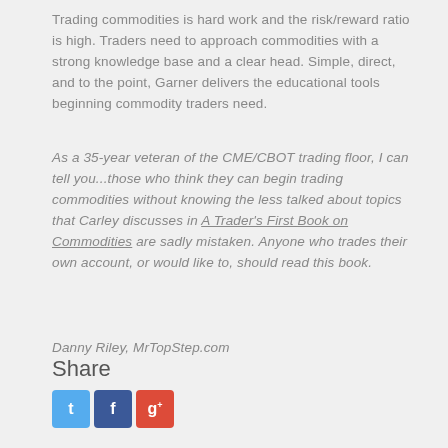Trading commodities is hard work and the risk/reward ratio is high. Traders need to approach commodities with a strong knowledge base and a clear head. Simple, direct, and to the point, Garner delivers the educational tools beginning commodity traders need.
As a 35-year veteran of the CME/CBOT trading floor, I can tell you...those who think they can begin trading commodities without knowing the less talked about topics that Carley discusses in A Trader's First Book on Commodities are sadly mistaken. Anyone who trades their own account, or would like to, should read this book.
Danny Riley, MrTopStep.com
Share